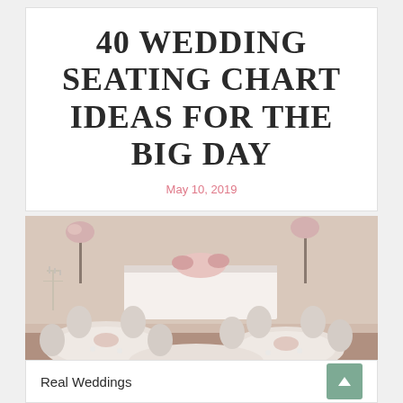40 WEDDING SEATING CHART IDEAS FOR THE BIG DAY
May 10, 2019
[Figure (photo): Elegant wedding reception hall with round tables draped in white and beige linens, floral centerpieces, candelabras, upholstered chairs, and a decorated head table in the background with sheer curtain draping.]
Real Weddings